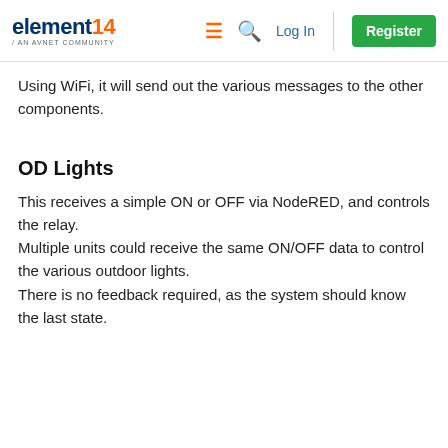element14 / AN AVNET COMMUNITY | Log In | Register
Using WiFi, it will send out the various messages to the other components.
OD Lights
This receives a simple ON or OFF via NodeRED, and controls the relay.
Multiple units could receive the same ON/OFF data to control the various outdoor lights.
There is no feedback required, as the system should know the last state.